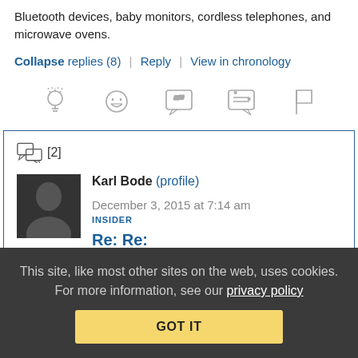Bluetooth devices, baby monitors, cordless telephones, and microwave ovens.
Collapse replies (8) | Reply | View in chronology
[Figure (other): Row of 5 action icons: lightbulb, laughing face, quote bubble, quote bubble with lines, flag]
[2]
Karl Bode (profile)   December 3, 2015 at 7:14 am
INSIDER
Re: Re:
This site, like most other sites on the web, uses cookies. For more information, see our privacy policy
GOT IT